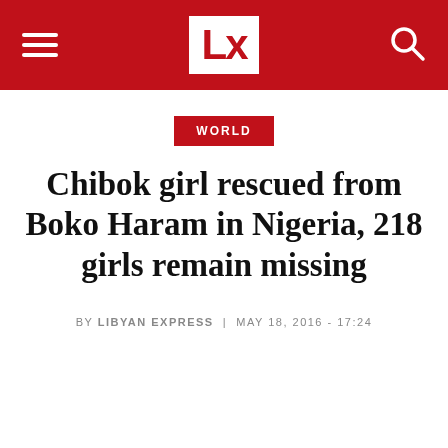LX — Libyan Express
WORLD
Chibok girl rescued from Boko Haram in Nigeria, 218 girls remain missing
BY LIBYAN EXPRESS | MAY 18, 2016 - 17:24